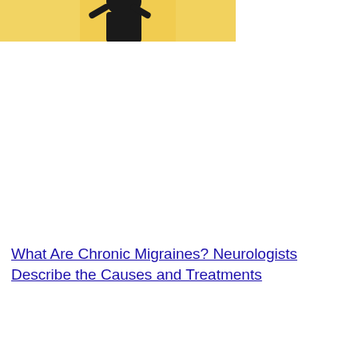[Figure (photo): Partial photo showing a person silhouette against a yellow/golden background, cropped at top of page]
What Are Chronic Migraines? Neurologists Describe the Causes and Treatments